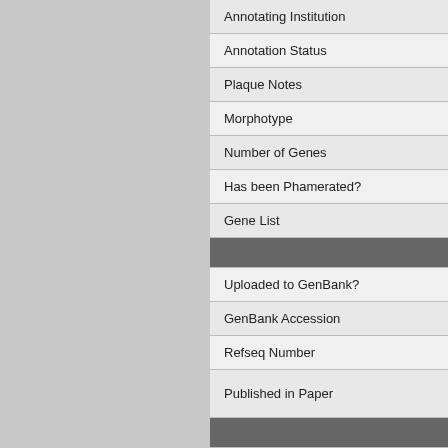Annotating Institution
Annotation Status
Plaque Notes
Morphotype
Number of Genes
Has been Phamerated?
Gene List
Uploaded to GenBank?
GenBank Accession
Refseq Number
Published in Paper
Archiving status
SEA Designator